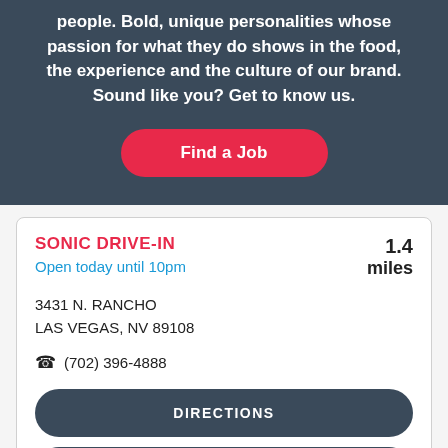people. Bold, unique personalities whose passion for what they do shows in the food, the experience and the culture of our brand. Sound like you? Get to know us.
Find a Job
SONIC DRIVE-IN
Open today until 10pm
3431 N. RANCHO
LAS VEGAS, NV 89108
(702) 396-4888
1.4 miles
DIRECTIONS
VIEW DETAILS